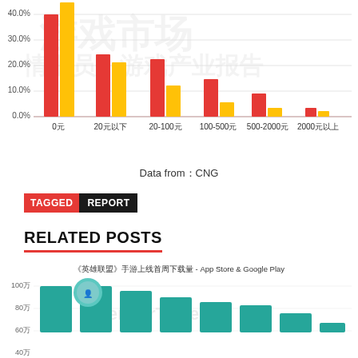[Figure (grouped-bar-chart): ]
Data from：CNG
TAGGED  REPORT
RELATED POSTS
[Figure (bar-chart): 《英雄联盟》手游上线首周下载量 - App Store & Google Play]